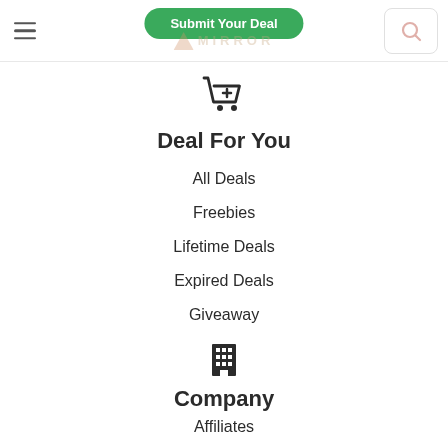Submit Your Deal | MIRROR navigation header
[Figure (illustration): Shopping cart with plus icon]
Deal For You
All Deals
Freebies
Lifetime Deals
Expired Deals
Giveaway
[Figure (illustration): Office building icon]
Company
Affiliates
About us